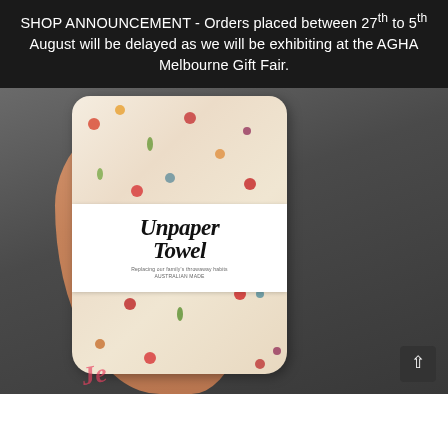SHOP ANNOUNCEMENT - Orders placed between 27th to 5th August will be delayed as we will be exhibiting at the AGHA Melbourne Gift Fair.
[Figure (photo): A hand holding a rolled-up floral fabric product labeled 'Unpaper Towel', with 'AUSTRALIAN MADE' text on the label band. The fabric has a white background with colorful floral print. There is a visible tattoo on the wrist. Background is dark grey/charcoal.]